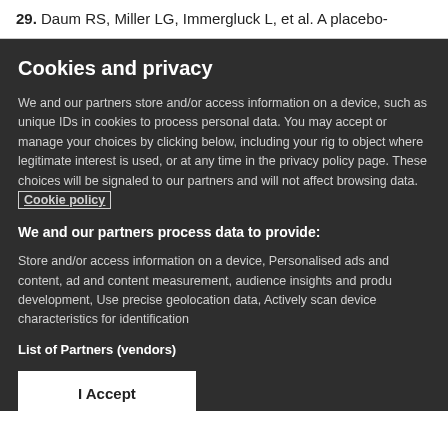29. Daum RS, Miller LG, Immergluck L, et al. A placebo-
Cookies and privacy
We and our partners store and/or access information on a device, such as unique IDs in cookies to process personal data. You may accept or manage your choices by clicking below, including your rig to object where legitimate interest is used, or at any time in the privacy policy page. These choices will be signaled to our partners and will not affect browsing data. Cookie policy
We and our partners process data to provide:
Store and/or access information on a device, Personalised ads and content, ad and content measurement, audience insights and produ development, Use precise geolocation data, Actively scan device characteristics for identification
List of Partners (vendors)
I Accept